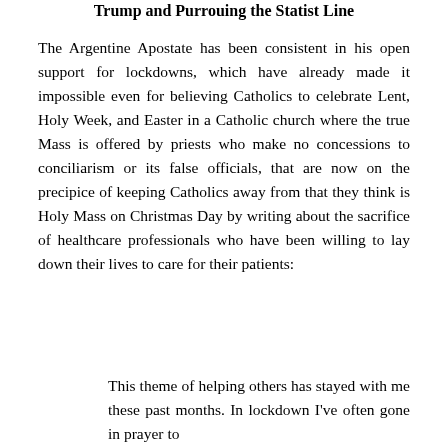Trump and Purrouing the Statist Line
The Argentine Apostate has been consistent in his open support for lockdowns, which have already made it impossible even for believing Catholics to celebrate Lent, Holy Week, and Easter in a Catholic church where the true Mass is offered by priests who make no concessions to conciliarism or its false officials, that are now on the precipice of keeping Catholics away from that they think is Holy Mass on Christmas Day by writing about the sacrifice of healthcare professionals who have been willing to lay down their lives to care for their patients:
This theme of helping others has stayed with me these past months. In lockdown I've often gone in prayer to